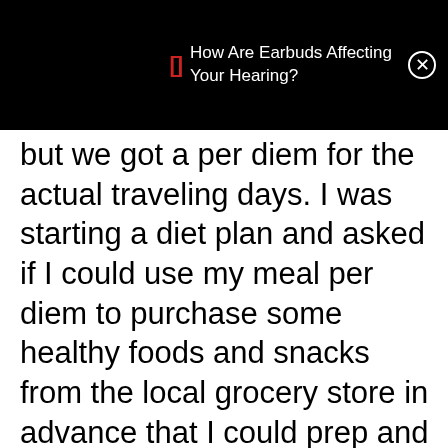[Figure (screenshot): Mobile notification bar overlay on black background showing a notification: bracket icon in red, text 'How Are Earbuds Affecting Your Hearing?' with a close (X) button in a circle]
but we got a per diem for the actual traveling days. I was starting a diet plan and asked if I could use my meal per diem to purchase some healthy foods and snacks from the local grocery store in advance that I could prep and bring with me – fruit, HB eggs, nuts, etc. It would save them money. I was told absolutely not, the